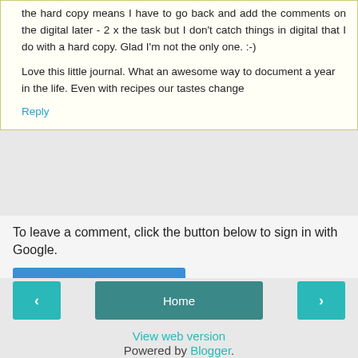the hard copy means I have to go back and add the comments on the digital later - 2 x the task but I don't catch things in digital that I do with a hard copy. Glad I'm not the only one. :-)
Love this little journal. What an awesome way to document a year in the life. Even with recipes our tastes change
Reply
To leave a comment, click the button below to sign in with Google.
SIGN IN WITH GOOGLE
Home
View web version
Powered by Blogger.